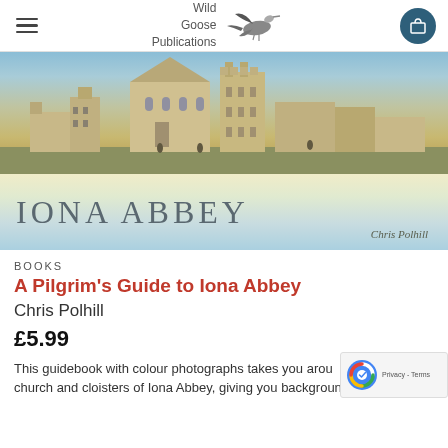Wild Goose Publications
[Figure (photo): Book cover for 'Iona Abbey' by Chris Polhill. Top half shows an aerial/artistic view of Iona Abbey buildings with water in background. Bottom half shows title 'IONA ABBEY' in large serif letters on a gradient background from pale yellow to blue-green, with 'Chris Polhill' in italic at bottom right.]
BOOKS
A Pilgrim's Guide to Iona Abbey
Chris Polhill
£5.99
This guidebook with colour photographs takes you around the church and cloisters of Iona Abbey, giving you background